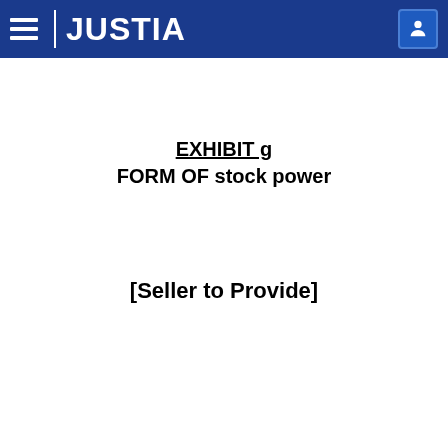JUSTIA
EXHIBIT g
FORM OF stock power
[Seller to Provide]